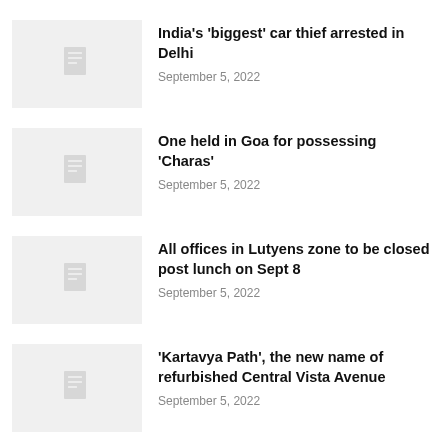India's 'biggest' car thief arrested in Delhi
September 5, 2022
One held in Goa for possessing 'Charas'
September 5, 2022
All offices in Lutyens zone to be closed post lunch on Sept 8
September 5, 2022
'Kartavya Path', the new name of refurbished Central Vista Avenue
September 5, 2022